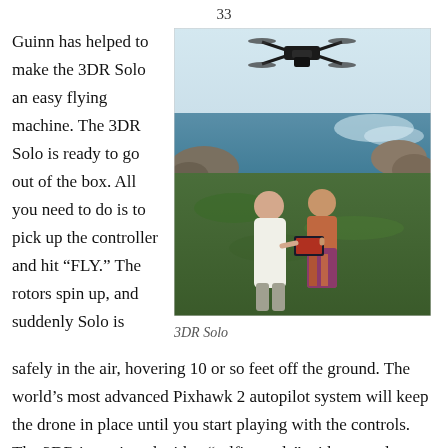33
Guinn has helped to make the 3DR Solo an easy flying machine. The 3DR Solo is ready to go out of the box. All you need to do is to pick up the controller and hit “FLY.” The rotors spin up, and suddenly Solo is
[Figure (photo): A drone (3DR Solo) hovering over two women at a rocky coastal shoreline. The women appear to be looking at a tablet/controller device. Ocean waves and rocks visible in background.]
3DR Solo
safely in the air, hovering 10 or so feet off the ground. The world’s most advanced Pixhawk 2 autopilot system will keep the drone in place until you start playing with the controls. The 3DR is equipped with a “selfie mode” with a couple taps the 3DR Solo